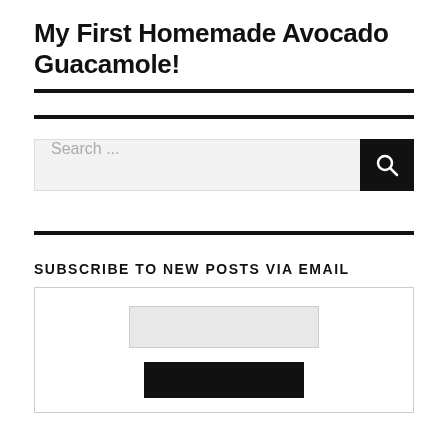My First Homemade Avocado Guacamole!
Search ...
SUBSCRIBE TO NEW POSTS VIA EMAIL